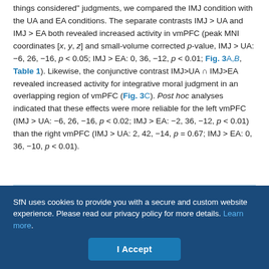things considered" judgments, we compared the IMJ condition with the UA and EA conditions. The separate contrasts IMJ > UA and IMJ > EA both revealed increased activity in vmPFC (peak MNI coordinates [x, y, z] and small-volume corrected p-value, IMJ > UA: −6, 26, −16, p < 0.05; IMJ > EA: 0, 36, −12, p < 0.01; Fig. 3A,B, Table 1). Likewise, the conjunctive contrast IMJ>UA ∩ IMJ>EA revealed increased activity for integrative moral judgment in an overlapping region of vmPFC (Fig. 3C). Post hoc analyses indicated that these effects were more reliable for the left vmPFC (IMJ > UA: −6, 26, −16, p < 0.02; IMJ > EA: −2, 36, −12, p < 0.01) than the right vmPFC (IMJ > UA: 2, 42, −14, p = 0.67; IMJ > EA: 0, 36, −10, p < 0.01).
SfN uses cookies to provide you with a secure and custom website experience. Please read our privacy policy for more details. Learn more